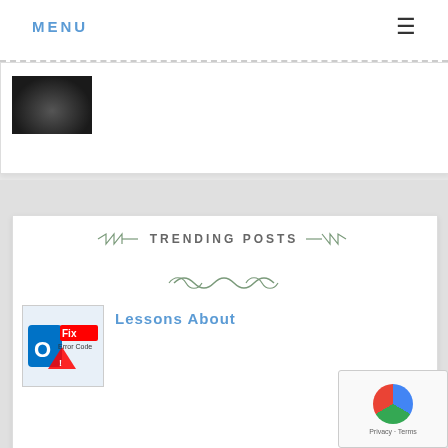MENU
[Figure (photo): Dark colored object, possibly a microphone or device, on dark background]
TRENDING POSTS
[Figure (illustration): Decorative swirl/flourish divider in green]
[Figure (screenshot): Microsoft Outlook logo with Fix Error Code overlay text]
Lessons About
[Figure (logo): reCAPTCHA widget with Privacy and Terms links]